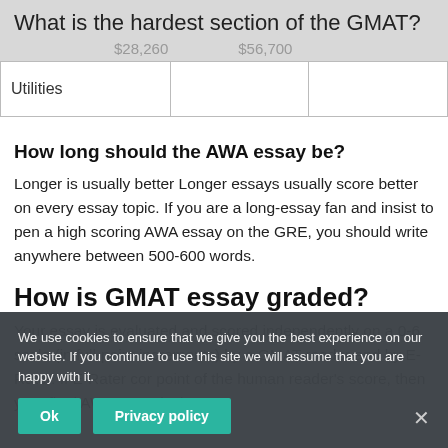What is the hardest section of the GMAT?
|  | $28,260 | $56,700 |
| --- | --- | --- |
| Utilities |  |  |
How long should the AWA essay be?
Longer is usually better Longer essays usually score better on every essay topic. If you are a long-essay fan and insist to pen a high scoring AWA essay on the GRE, you should write anywhere between 500-600 words.
How is GMAT essay graded?
Your essay is evaluated and scored independently on a 0-6 scale (in full-point increments) by a GMAT reader and by E-Rater. If E-Rater cor... point of the human reader's score, then your final AWA score is th...
We use cookies to ensure that we give you the best experience on our website. If you continue to use this site we will assume that you are happy with it.